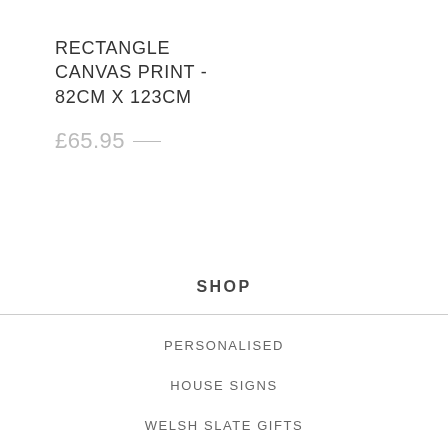RECTANGLE CANVAS PRINT - 82CM X 123CM
£65.95
SHOP
PERSONALISED
HOUSE SIGNS
WELSH SLATE GIFTS